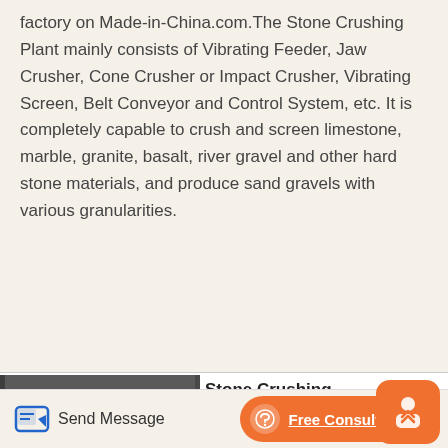factory on Made-in-China.com.The Stone Crushing Plant mainly consists of Vibrating Feeder, Jaw Crusher, Cone Crusher or Impact Crusher, Vibrating Screen, Belt Conveyor and Control System, etc. It is completely capable to crush and screen limestone, marble, granite, basalt, river gravel and other hard stone materials, and produce sand gravels with various granularities.
[Figure (photo): Photo of stone crushing plant machinery showing jaw crushers with large red and black wheels lined up in a factory/warehouse setting]
Stone Crushing Pla... Stone Crushing Pla... Direct From
China Stone Crusher Plant with Good Price, Find details about China Stone Crusher Plant, Stone Crusher Plant Price from Stone Crusher Plant with Good Price -.Stone crusher plant consists of vibrating feeder, jaw crusher,
Send Message
Free Consultation